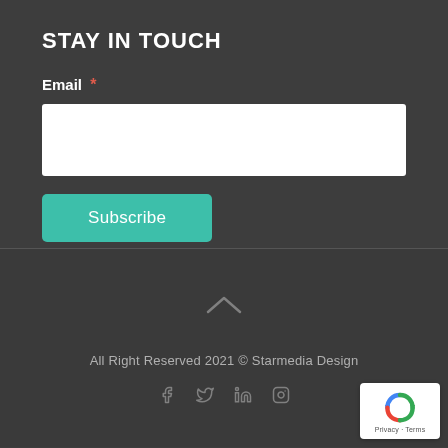STAY IN TOUCH
Email *
[Figure (screenshot): White email input field box]
Subscribe
[Figure (illustration): Upward chevron arrow icon]
All Right Reserved 2021 © Starmedia Design
[Figure (illustration): Social media icons: Facebook, Twitter, LinkedIn, Instagram]
[Figure (logo): Google reCAPTCHA badge with Privacy and Terms text]